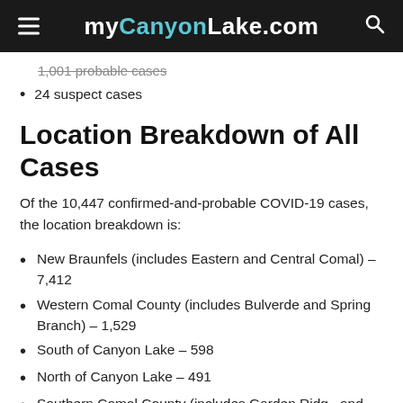myCanyonLake.com
1,001 probable cases
24 suspect cases
Location Breakdown of All Cases
Of the 10,447 confirmed-and-probable COVID-19 cases, the location breakdown is:
New Braunfels (includes Eastern and Central Comal) – 7,412
Western Comal County (includes Bulverde and Spring Branch) – 1,529
South of Canyon Lake – 598
North of Canyon Lake – 491
Southern Comal County (includes Garden Ridge and Schertz) –365
Fair Oaks Ranch – 52